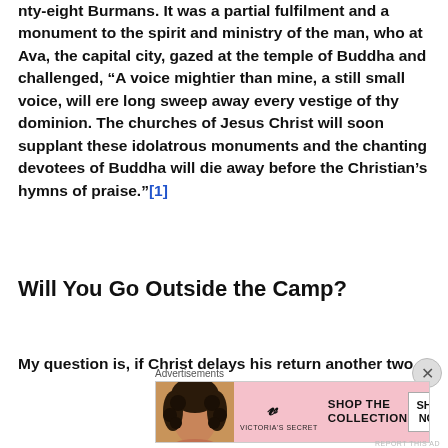nty-eight Burmans. It was a partial fulfilment and a monument to the spirit and ministry of the man, who at Ava, the capital city, gazed at the temple of Buddha and challenged, “A voice mightier than mine, a still small voice, will ere long sweep away every vestige of thy dominion. The churches of Jesus Christ will soon supplant these idolatrous monuments and the chanting devotees of Buddha will die away before the Christian’s hymns of praise.”[1]
Will You Go Outside the Camp?
My question is, if Christ delays his return another two
Advertisements
[Figure (other): Victoria's Secret advertisement banner with model, VS logo, 'SHOP THE COLLECTION' text and 'SHOP NOW' button]